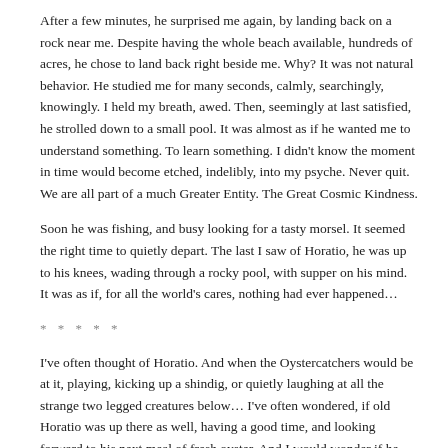After a few minutes, he surprised me again, by landing back on a rock near me. Despite having the whole beach available, hundreds of acres, he chose to land back right beside me. Why? It was not natural behavior. He studied me for many seconds, calmly, searchingly, knowingly. I held my breath, awed. Then, seemingly at last satisfied, he strolled down to a small pool. It was almost as if he wanted me to understand something. To learn something. I didn't know the moment in time would become etched, indelibly, into my psyche. Never quit. We are all part of a much Greater Entity. The Great Cosmic Kindness.
Soon he was fishing, and busy looking for a tasty morsel. It seemed the right time to quietly depart. The last I saw of Horatio, he was up to his knees, wading through a rocky pool, with supper on his mind. It was as if, for all the world's cares, nothing had ever happened…
* * * * *
I've often thought of Horatio. And when the Oystercatchers would be at it, playing, kicking up a shindig, or quietly laughing at all the strange two legged creatures below… I've often wondered, if old Horatio was up there as well, having a good time, and looking forward to his next meal of fresh oyster. And I would wonder if he looked down upon flightless Man, tethered down by his own lead baggage, and felt a little sorry for him.